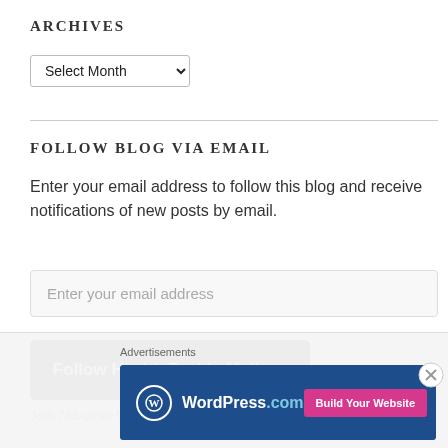ARCHIVES
Select Month
FOLLOW BLOG VIA EMAIL
Enter your email address to follow this blog and receive notifications of new posts by email.
Enter your email address
Follow Health Buddy Melissa
Join 745 other follow...
Advertisements
[Figure (screenshot): WordPress.com advertisement banner with blue background, WordPress logo on left, and pink 'Build Your Website' button on right]